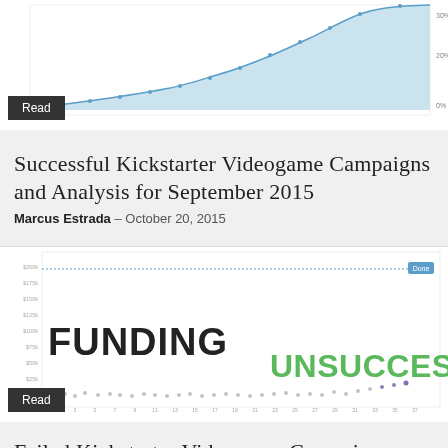[Figure (continuous-plot): Partial area/line chart at top of page, light blue fill, showing upward trend. Y-axis labels partially visible on right (30%, 20%, 0%). No x-axis visible.]
Read
Successful Kickstarter Videogame Campaigns and Analysis for September 2015
Marcus Estrada — October 20, 2015
[Figure (continuous-plot): Scatter/line chart with 'FUNDING UNSUCCESSFUL' text overlay. Y-axis on left with dollar values, x-axis across bottom with numbered ticks. A horizontal blue line near top. Green and purple dots scattered near bottom. Blue label 'Done' at top right.]
Read
Failed Kickstarter Videogame Campaigns